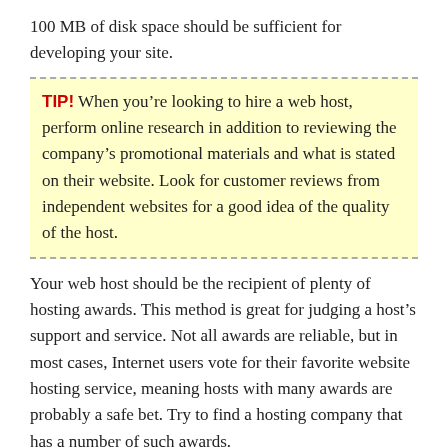100 MB of disk space should be sufficient for developing your site.
TIP! When you’re looking to hire a web host, perform online research in addition to reviewing the company’s promotional materials and what is stated on their website. Look for customer reviews from independent websites for a good idea of the quality of the host.
Your web host should be the recipient of plenty of hosting awards. This method is great for judging a host’s support and service. Not all awards are reliable, but in most cases, Internet users vote for their favorite website hosting service, meaning hosts with many awards are probably a safe bet. Try to find a hosting company that has a number of such awards.
Now that you have read about web hosting, and the best way of selecting one, you should have a much better understanding of what to do when its time to set up your